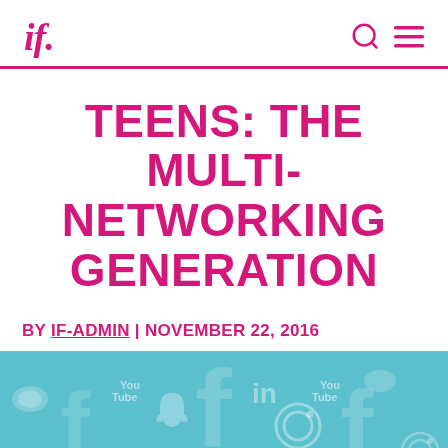if.
TEENS: THE MULTI-NETWORKING GENERATION
BY IF-ADMIN | NOVEMBER 22, 2016
[Figure (illustration): Social media icons collage on teal/blue background including Facebook, Twitter, YouTube, LinkedIn, Instagram, Snapchat, Vine logos]